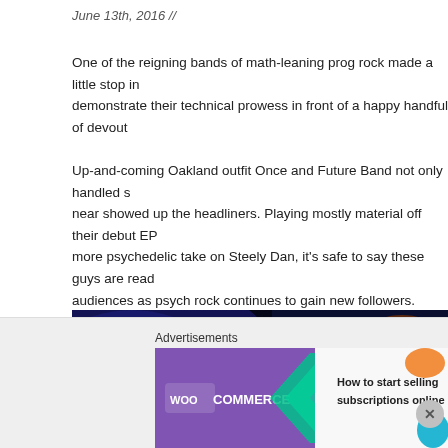June 13th, 2016 //
One of the reigning bands of math-leaning prog rock made a little stop in demonstrate their technical prowess in front of a happy handful of devout
Up-and-coming Oakland outfit Once and Future Band not only handled s near showed up the headliners. Playing mostly material off their debut EP more psychedelic take on Steely Dan, it's safe to say these guys are read audiences as psych rock continues to gain new followers.
[Figure (photo): Concert photo of a performer on stage with blue stage lighting and a bright white spotlight. The performer is shown in close-up, wearing a white shirt, with reddish-brown hair, against a dark background.]
Advertisements
[Figure (screenshot): WooCommerce advertisement banner reading 'How to start selling subscriptions online' with WooCommerce logo and decorative shapes in orange and blue/teal.]